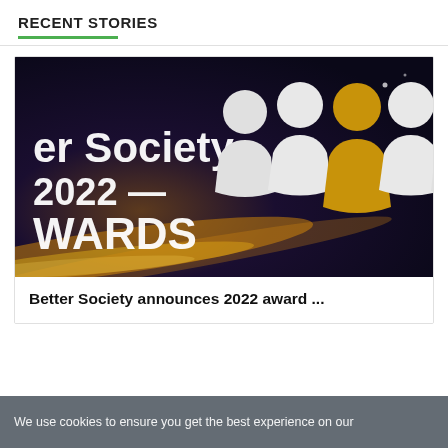RECENT STORIES
[Figure (photo): Award event banner showing 'er Society 2022 WARDS' text with silhouette figures including a highlighted golden figure, on a dark purple/black background with golden light streaks]
Better Society announces 2022 award ...
We use cookies to ensure you get the best experience on our